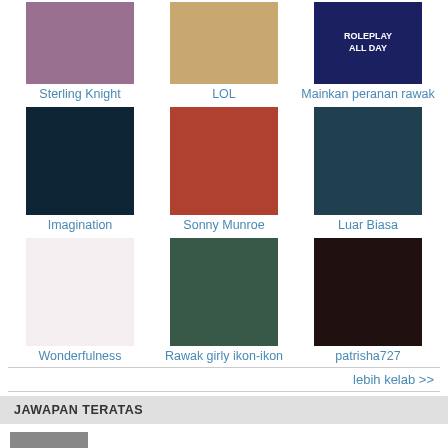[Figure (photo): Club thumbnails grid: Sterling Knight, LOL, Mainkan peranan rawak, Imagination, Sonny Munroe, Luar Biasa, Wonderfulness, Rawak girly ikon-ikon, patrisha727]
lebih kelab >>
JAWAPAN TERATAS
[Figure (photo): Avatar for r-pattz (the oracle)]
the oracle
r-pattz
69 best answers
[Figure (photo): Avatar for MrOrange16 (the guru)]
the guru
MrOrange16
59 best answers
[Figure (photo): Avatar for cmrm (the sage)]
the sage
cmrm
33 best answers